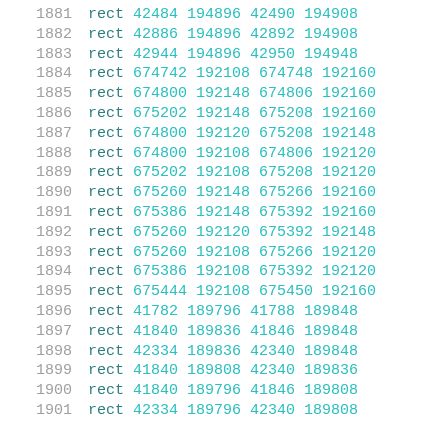1881  rect 42484 194896 42490 194908
1882  rect 42886 194896 42892 194908
1883  rect 42944 194896 42950 194948
1884  rect 674742 192108 674748 192160
1885  rect 674800 192148 674806 192160
1886  rect 675202 192148 675208 192160
1887  rect 674800 192120 675208 192148
1888  rect 674800 192108 674806 192120
1889  rect 675202 192108 675208 192120
1890  rect 675260 192148 675266 192160
1891  rect 675386 192148 675392 192160
1892  rect 675260 192120 675392 192148
1893  rect 675260 192108 675266 192120
1894  rect 675386 192108 675392 192120
1895  rect 675444 192108 675450 192160
1896  rect 41782 189796 41788 189848
1897  rect 41840 189836 41846 189848
1898  rect 42334 189836 42340 189848
1899  rect 41840 189808 42340 189836
1900  rect 41840 189796 41846 189808
1901  rect 42334 189796 42340 189808